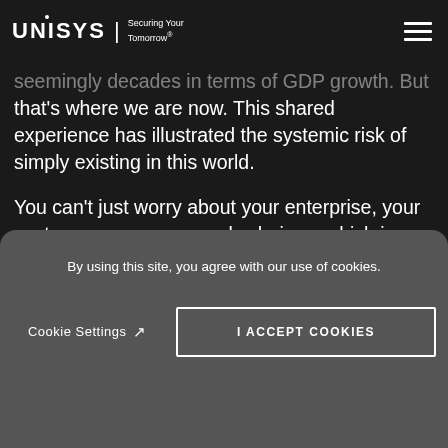UNISYS | Securing Your Tomorrow®
seemingly decades in terms of GDP growth. But that's where we are now. This shared experience has illustrated the systemic risk of simply existing in this world.

You can't just worry about your enterprise, your sector or even your supply chain — which is outside your company. You need to be aware that we are in a world that's interconnected
capital structures and markets. We don't — or
By using this site, you agree with our use of cookies.
Cookie Settings
I ACCEPT COOKIES